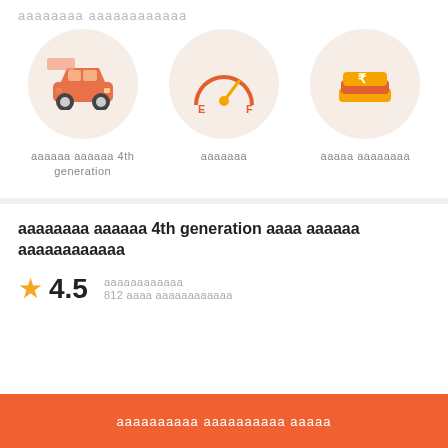ааааааа аааааааааааа
[Figure (illustration): Three circular icons: car icon, fuel gauge icon (E-F), and money/rupee icon]
аааааа аааааа 4th generation
ааааааа
ааааа аааааааа
аааааааа аааааа 4th generation аааа аааааа аааааааааааа
★ 4.5  аааааааааааа  812 аааа аааааааааааа
аааааааааа аааааааааа ааааа